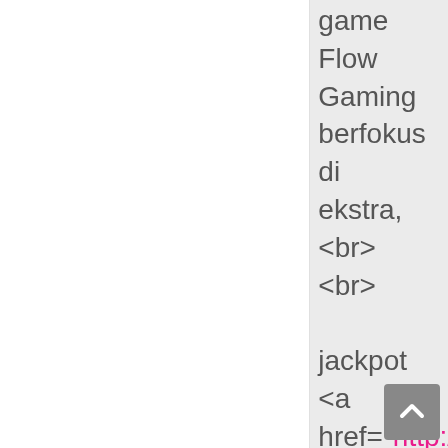game Flow Gaming berfokus di ekstra, <br> <br> jackpot <a href="http://nowlin judi slot pragmatic play terpercaya</a>